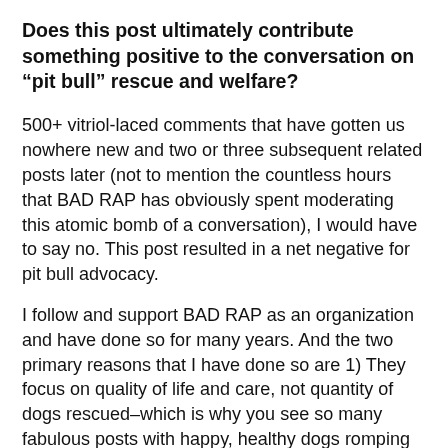Does this post ultimately contribute something positive to the conversation on “pit bull” rescue and welfare?
500+ vitriol-laced comments that have gotten us nowhere new and two or three subsequent related posts later (not to mention the countless hours that BAD RAP has obviously spent moderating this atomic bomb of a conversation), I would have to say no. This post resulted in a net negative for pit bull advocacy.
I follow and support BAD RAP as an organization and have done so for many years. And the two primary reasons that I have done so are 1) They focus on quality of life and care, not quantity of dogs rescued–which is why you see so many fabulous posts with happy, healthy dogs romping on their property and successfully progressing